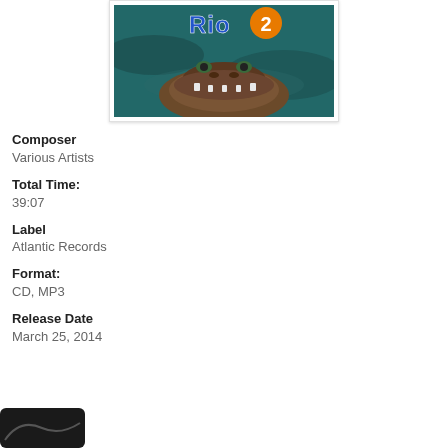[Figure (photo): Rio 2 movie soundtrack album cover showing an alligator/crocodile partially submerged in water with the Rio 2 logo at top]
Composer
Various Artists
Total Time:
39:07
Label
Atlantic Records
Format:
CD, MP3
Release Date
March 25, 2014
[Figure (logo): Partial dark logo/image at bottom left corner]